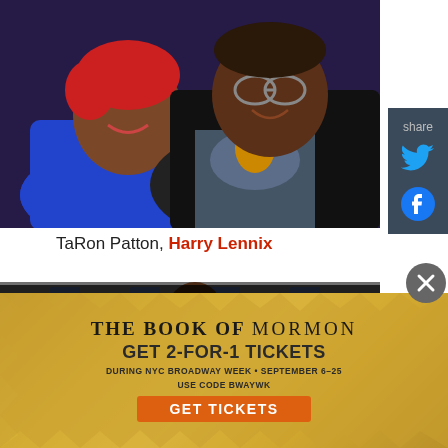[Figure (photo): Two people posing together at an event: a woman with short red hair wearing a blue top, and a man in a patterned shirt and black jacket with gold/orange cravat. Dark blue tufted background.]
TaRon Patton, Harry Lennix
[Figure (photo): Partial photo showing a person in front of a backdrop with logos, partially obscured by overlay bar and advertisement.]
First Look at Tiki Barber in
[Figure (infographic): Advertisement for The Book of Mormon musical. Gold starburst background. Text: THE BOOK OF MORMON. GET 2-FOR-1 TICKETS. DURING NYC BROADWAY WEEK • SEPTEMBER 6-25. USE CODE BWAYWK. GET TICKETS button in orange.]